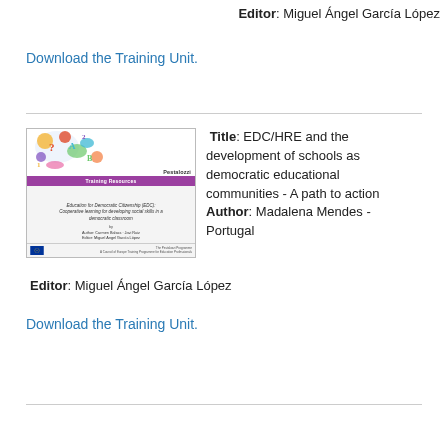Editor: Miguel Ángel García López
Download the Training Unit.
[Figure (illustration): Book cover for 'Education for Democratic Citizenship (EDC): Cooperative learning for developing social skills in a democratic classroom' - Pestalozzi Training Resources series, with colorful decorative art and EU logo]
Title: EDC/HRE and the development of schools as democratic educational communities - A path to action
Author: Madalena Mendes - Portugal
Editor: Miguel Ángel García López
Download the Training Unit.